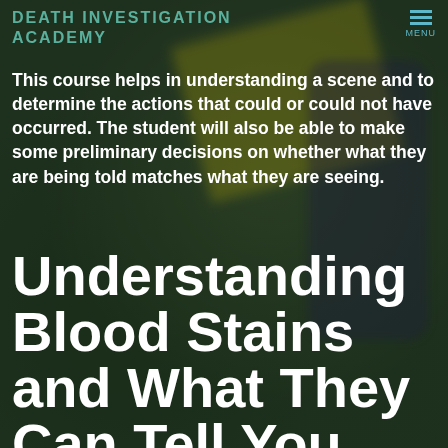Death Investigation Academy
This course helps in understanding a scene and to determine the actions that could or could not have occurred. The student will also be able to make some preliminary decisions on whether what they are being told matches what they are seeing.
Understanding Blood Stains and What They Can Tell You.